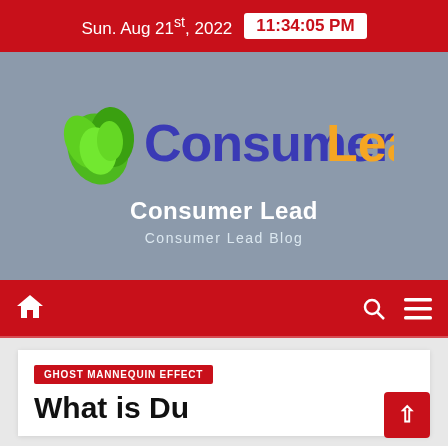Sun. Aug 21st, 2022  11:34:05 PM
[Figure (logo): ConsumerLead logo with green hand/leaf icon and two-tone purple/orange text reading 'ConsumerLead']
Consumer Lead
Consumer Lead Blog
GHOST MANNEQUIN EFFECT
What is Du...